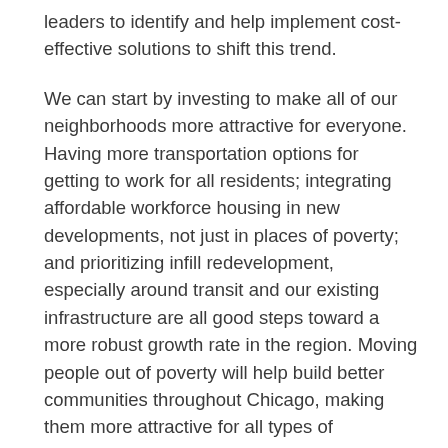leaders to identify and help implement cost-effective solutions to shift this trend.
We can start by investing to make all of our neighborhoods more attractive for everyone. Having more transportation options for getting to work for all residents; integrating affordable workforce housing in new developments, not just in places of poverty; and prioritizing infill redevelopment, especially around transit and our existing infrastructure are all good steps toward a more robust growth rate in the region. Moving people out of poverty will help build better communities throughout Chicago, making them more attractive for all types of households—singles and families.